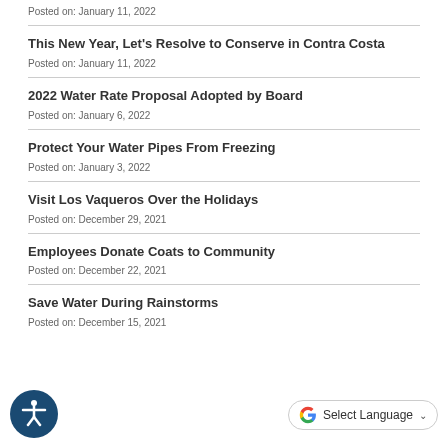Posted on: January 11, 2022
This New Year, Let's Resolve to Conserve in Contra Costa
Posted on: January 11, 2022
2022 Water Rate Proposal Adopted by Board
Posted on: January 6, 2022
Protect Your Water Pipes From Freezing
Posted on: January 3, 2022
Visit Los Vaqueros Over the Holidays
Posted on: December 29, 2021
Employees Donate Coats to Community
Posted on: December 22, 2021
Save Water During Rainstorms
Posted on: December 15, 2021